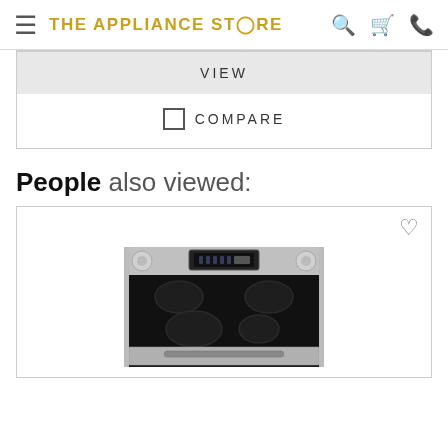THE APPLIANCE STORE
VIEW
COMPARE
People also viewed:
[Figure (photo): Stainless steel electric range/stove with smooth cooktop and digital controls, viewed from a front-elevated angle]